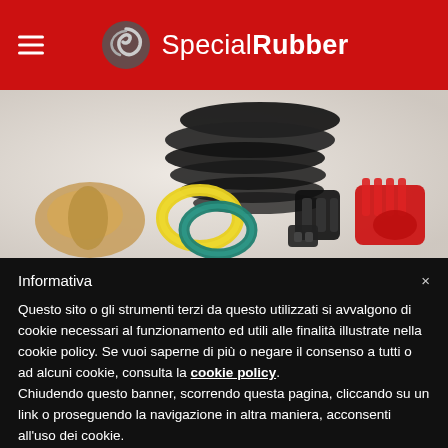SpecialRubber
[Figure (photo): Rubber parts and components including O-rings, seals, springs and other rubber products on a light background]
Informativa
Questo sito o gli strumenti terzi da questo utilizzati si avvalgono di cookie necessari al funzionamento ed utili alle finalità illustrate nella cookie policy. Se vuoi saperne di più o negare il consenso a tutti o ad alcuni cookie, consulta la cookie policy. Chiudendo questo banner, scorrendo questa pagina, cliccando su un link o proseguendo la navigazione in altra maniera, acconsenti all'uso dei cookie.